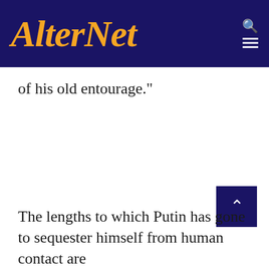AlterNet
of his old entourage."
The lengths to which Putin has gone to sequester himself from human contact are